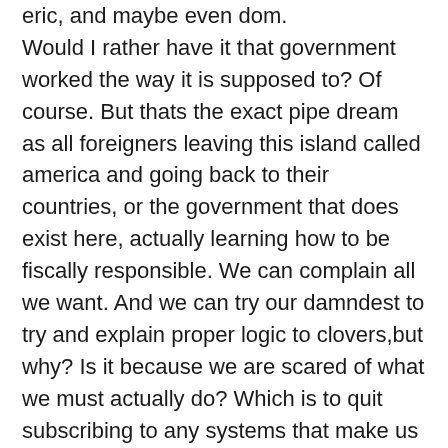eric, and maybe even dom. Would I rather have it that government worked the way it is supposed to? Of course. But thats the exact pipe dream as all foreigners leaving this island called america and going back to their countries, or the government that does exist here, actually learning how to be fiscally responsible. We can complain all we want. And we can try our damndest to try and explain proper logic to clovers,but why? Is it because we are scared of what we must actually do? Which is to quit subscribing to any systems that make us owned by someone other than our selfs. the laws will never stop multiplying. nor will the cops. nor will the taxes. fuck the clovers,obviously. fuck suits who try to tell you what to do. fuck people who dress up in blue uniforms and wear shiny badges that think